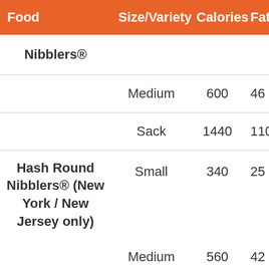| Food | Size/Variety | Calories | Fat |
| --- | --- | --- | --- |
| Nibblers® |  |  |  |
|  | Medium | 600 | 46 |
|  | Sack | 1440 | 110 |
| Hash Round Nibblers® (New York / New Jersey only) | Small | 340 | 25 |
|  | Medium | 560 | 42 |